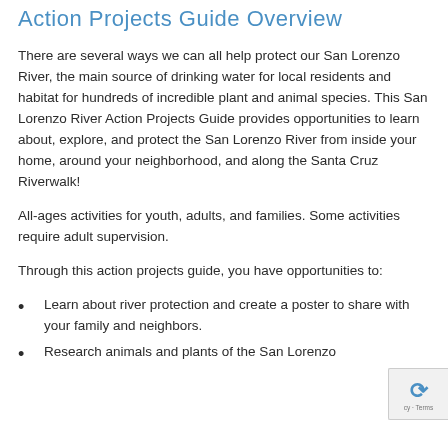Action Projects Guide Overview
There are several ways we can all help protect our San Lorenzo River, the main source of drinking water for local residents and habitat for hundreds of incredible plant and animal species. This San Lorenzo River Action Projects Guide provides opportunities to learn about, explore, and protect the San Lorenzo River from inside your home, around your neighborhood, and along the Santa Cruz Riverwalk!
All-ages activities for youth, adults, and families. Some activities require adult supervision.
Through this action projects guide, you have opportunities to:
Learn about river protection and create a poster to share with your family and neighbors.
Research animals and plants of the San Lorenzo